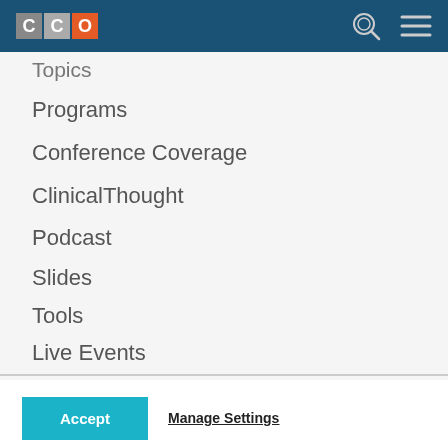CCO
Topics
Programs
Conference Coverage
ClinicalThought
Podcast
Slides
Tools
Live Events
This site uses cookies and related technologies for purposes that may include site operation, analytics, enhanced user experience, or advertising. You may choose to consent to our use of these technologies, or manage your own preferences. For more information, see our Privacy policy
Accept | Manage Settings